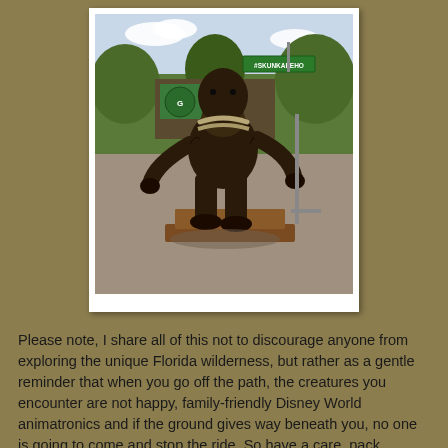[Figure (photo): A bigfoot/Skunk Ape statue or sculpture standing on a wooden platform outdoors. The figure is dark brown, hunched forward in a primate-like pose. Behind it is a green street sign reading #SKUNKAPEHO and various outdoor decorations and vegetation. The photo has a white polaroid-style border.]
Please note, I share all of this not to discourage anyone from exploring the unique Florida wilderness, but rather as a gentle reminder that when you go off the path, the creatures you encounter are not happy, family-friendly Disney World animatronics and if the ground gives way beneath you, no one is going to come and stop the ride. So have a care, pack